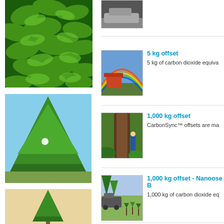[Figure (photo): Close-up of pine needles and branches, bright green, top of left column]
[Figure (photo): Full Christmas/fir tree in a field against blue sky, middle of left column]
[Figure (photo): Small conifer tree on tan/beige background, bottom of left column]
[Figure (photo): Partial thumbnail showing car/vehicle, top of right column listing]
[Figure (photo): Rainbow over a red building with mountains in background, thumbnail for 5 kg offset listing]
5 kg offset
5 kg of carbon dioxide equiva
[Figure (photo): Large tree trunk in forest with person in blue jacket, thumbnail for 1,000 kg offset listing]
1,000 kg offset
CarbonSync™ offsets are ma
[Figure (photo): Field scene with truck and small saplings being planted, thumbnail for 1,000 kg offset Nanoose B listing]
1,000 kg offset - Nanoose B
1,000 kg of carbon dioxide eq